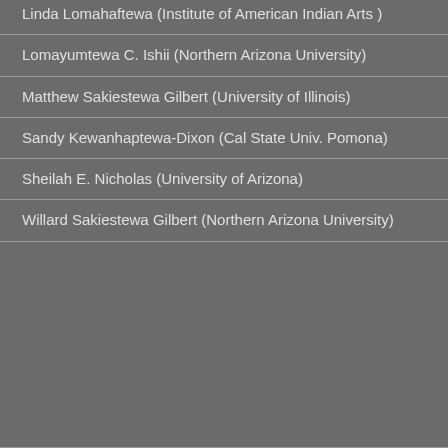Linda Lomahaftewa (Institute of American Indian Arts )
Lomayumtewa C. Ishii (Northern Arizona University)
Matthew Sakiestewa Gilbert (University of Illinois)
Sandy Kewanhaptewa-Dixon (Cal State Univ. Pomona)
Sheilah E. Nicholas (University of Arizona)
Willard Sakiestewa Gilbert (Northern Arizona University)